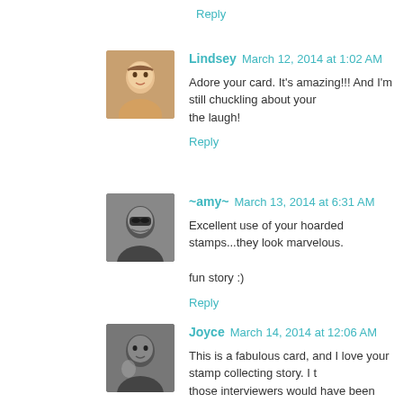Reply
Lindsey  March 12, 2014 at 1:02 AM
Adore your card. It's amazing!!! And I'm still chuckling about your the laugh!
Reply
~amy~  March 13, 2014 at 6:31 AM
Excellent use of your hoarded stamps...they look marvelous.

fun story :)
Reply
Joyce  March 14, 2014 at 12:06 AM
This is a fabulous card, and I love your stamp collecting story. I t those interviewers would have been more interested in your st offers. Well, what do I know--and I guess I have been out of the w
Reply